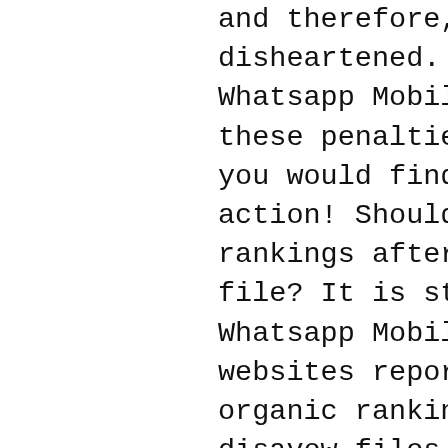and therefore, you must not feel disheartened. You must work hard to Whatsapp Mobile Number List resolve these penalties and within no time you would find your website back in action! Should you expect drop in rankings after submitting disavow file? It is strange but true. Many Whatsapp Mobile Number List websites reported loss in their organic rankings after submitting disavow files to Google.
Why did it happen? Let's Whatsapp Mobile Number List see how Google professionals have to say about why it happened and also see what their suggestions are. Gary replied the question in a tweet “that, and if you see your rankings Whatsapp Mobile Number List dropped after a disavow, just remove the less shady links from the file. You have total control” Precautions to be taken with your backlinks Webmasters